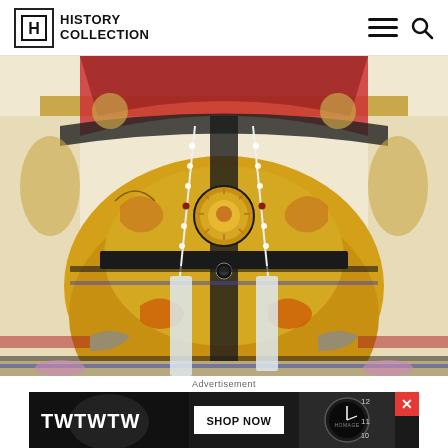HISTORY COLLECTION
[Figure (photo): Portrait painting of a Chinese emperor wearing ornate yellow dragon robes with intricate embroidery, seated on a throne surrounded by decorative motifs including dragons, phoenix, and cloud patterns on a light beige background]
Advertisement
[Figure (photo): Advertisement banner with dark background showing 'TWTWTW' text on left and 'SHOP NOW' button in center, with a watch image on the right side and a red X close button]